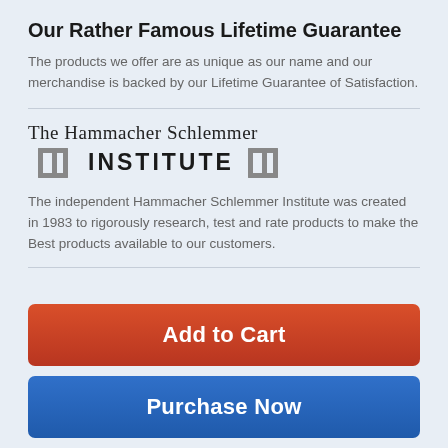Our Rather Famous Lifetime Guarantee
The products we offer are as unique as our name and our merchandise is backed by our Lifetime Guarantee of Satisfaction.
[Figure (logo): The Hammacher Schlemmer Institute logo with serif text and pillar decorations flanking the word INSTITUTE]
The independent Hammacher Schlemmer Institute was created in 1983 to rigorously research, test and rate products to make the Best products available to our customers.
Add to Cart
Purchase Now